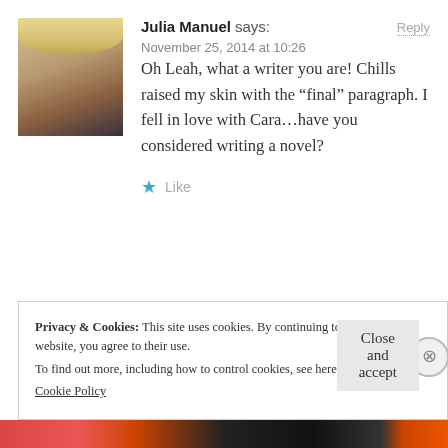[Figure (photo): Profile photo of Julia Manuel, a person wearing a light straw hat]
Julia Manuel says:
Reply
November 25, 2014 at 10:26
Oh Leah, what a writer you are! Chills raised my skin with the “final” paragraph. I fell in love with Cara…have you considered writing a novel?
★ Like
Privacy & Cookies: This site uses cookies. By continuing to use this website, you agree to their use.
To find out more, including how to control cookies, see here:
Cookie Policy
Close and accept